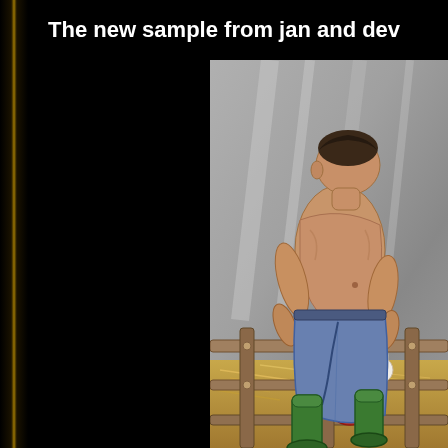The new sample from jan and dev
[Figure (illustration): Comic-style illustration of two male figures in a barn/farm setting. One shirtless muscular man wearing blue jeans and green rubber boots is positioned over another figure on a wooden fence/gate structure. Background shows gray barn interior with hay visible on the floor.]